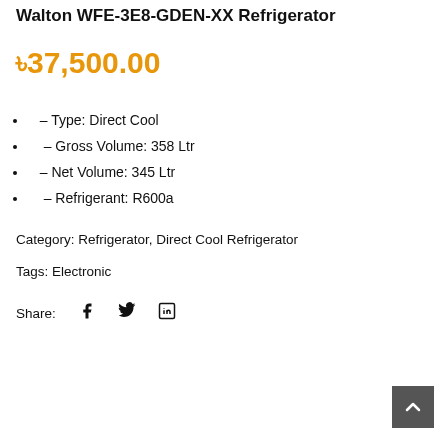Walton WFE-3E8-GDEN-XX Refrigerator
৳37,500.00
- Type: Direct Cool
- Gross Volume: 358 Ltr
- Net Volume: 345 Ltr
- Refrigerant: R600a
Category: Refrigerator, Direct Cool Refrigerator
Tags: Electronic
Share: